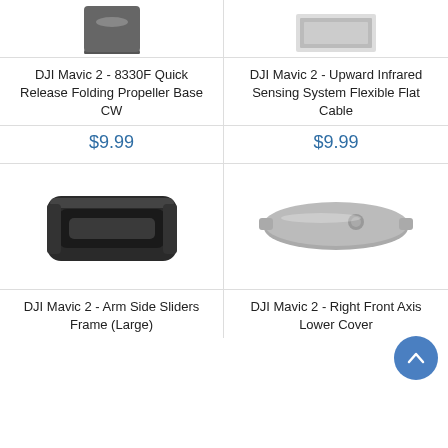[Figure (photo): Partial image of DJI Mavic 2 8330F Quick Release Folding Propeller Base CW (top portion visible)]
[Figure (photo): Partial image of DJI Mavic 2 Upward Infrared Sensing System Flexible Flat Cable (top portion visible)]
DJI Mavic 2 - 8330F Quick Release Folding Propeller Base CW
DJI Mavic 2 - Upward Infrared Sensing System Flexible Flat Cable
$9.99
$9.99
[Figure (photo): DJI Mavic 2 Arm Side Sliders Frame (Large) - black rectangular frame/sleeve component]
[Figure (photo): DJI Mavic 2 Right Front Axis Lower Cover - gray plastic cover plate with hole]
DJI Mavic 2 - Arm Side Sliders Frame (Large)
DJI Mavic 2 - Right Front Axis Lower Cover